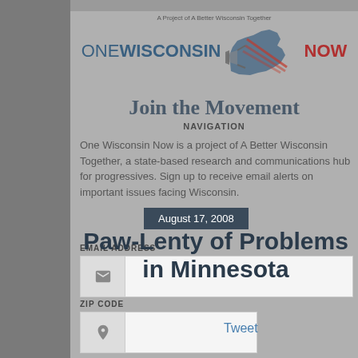[Figure (logo): One Wisconsin Now logo with Wisconsin state map, American flag motif, and tagline 'A Project of A Better Wisconsin Together']
Join the Movement
NAVIGATION
One Wisconsin Now is a project of A Better Wisconsin Together, a state-based research and communications hub for progressives. Sign up to receive email alerts on important issues facing Wisconsin.
August 17, 2008
Paw-Lenty of Problems in Minnesota
EMAIL ADDRESS
ZIP CODE
Tweet